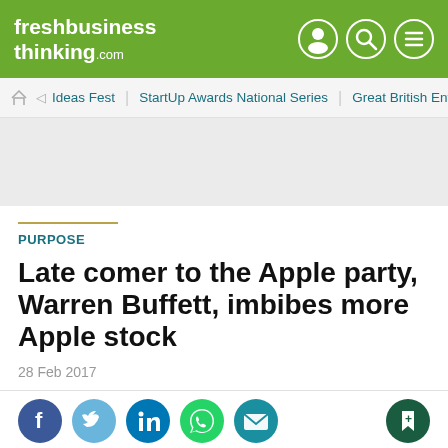freshbusiness thinking.com
PURPOSE
Late comer to the Apple party, Warren Buffett, imbibes more Apple stock
28 Feb 2017